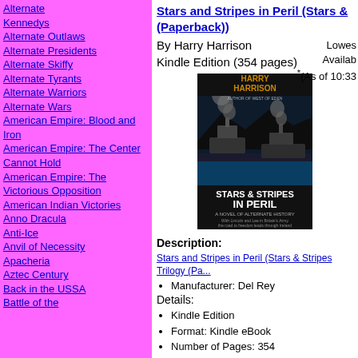Alternate Kennedys
Alternate Outlaws
Alternate Presidents
Alternate Skiffy
Alternate Tyrants
Alternate Warriors
Alternate Wars
American Empire: Blood and Iron
American Empire: The Center Cannot Hold
American Empire: The Victorious Opposition
American Indian Victories
Anno Dracula
Anti-Ice
Anvil of Necessity
Apacheria
Aztec Century
Back in the USSA
Battle of the
Stars and Stripes in Peril (Stars & Stripes) (Paperback)
By Harry Harrison
Kindle Edition (354 pages)
Lowest
Available
*(As of 10:33
[Figure (photo): Book cover of Stars & Stripes in Peril by Harry Harrison, showing naval ships with smoke on a dark background]
Description:
Stars and Stripes in Peril (Stars & Stripes Trilogy (Pa...
Manufacturer: Del Rey
Details:
Kindle Edition
Format: Kindle eBook
Number of Pages: 354
Author: Harry Harrison